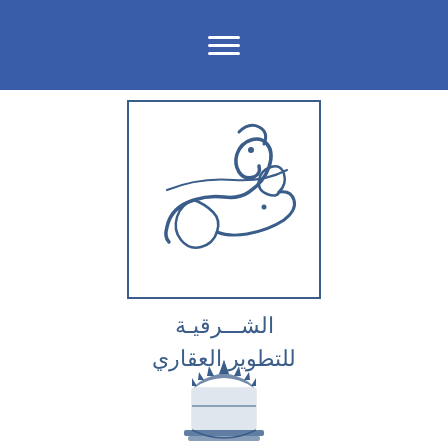≡ (hamburger menu icon)
[Figure (logo): Mada logo: Arabic calligraphy text مدى inside a square border, with Arabic subtitle الشرقية للتطوير العقاري below]
[Figure (illustration): Emblem/crest at the bottom of the page, partially visible, dark blue heraldic style]